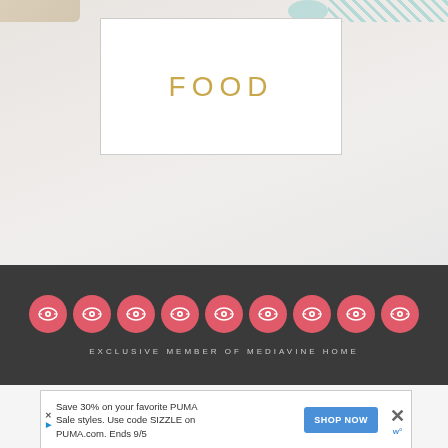[Figure (photo): Light grey/beige background with decorative items at top including food-related props. A white card with thin border is centered, displaying the word FOOD in gold/yellow spaced capital letters.]
[Figure (infographic): Dark grey banner with a row of 9 coral/pink circular icons each containing a stylized eye-like logo symbol. Below the circles is the text EXCLUSIVE MEMBER OF MEDIAVINE HOME in small spaced light grey capital letters.]
[Figure (screenshot): Advertisement banner: Save 30% on your favorite PUMA Sale styles. Use code SIZZLE on PUMA.com. Ends 9/5 with SHOP NOW button.]